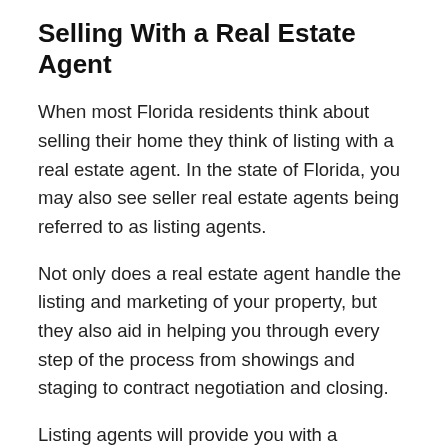Selling With a Real Estate Agent
When most Florida residents think about selling their home they think of listing with a real estate agent. In the state of Florida, you may also see seller real estate agents being referred to as listing agents.
Not only does a real estate agent handle the listing and marketing of your property, but they also aid in helping you through every step of the process from showings and staging to contract negotiation and closing.
Listing agents will provide you with a comparative market analysis (referred to as comps), and provide pricing…